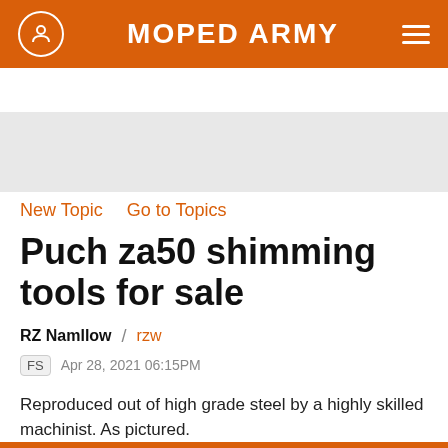MOPED ARMY
Buy + Sell
New Topic   Go to Topics
Puch za50 shimming tools for sale
RZ Namllow / rzw
FS  Apr 28, 2021 06:15PM
Reproduced out of high grade steel by a highly skilled machinist. As pictured.
$250.